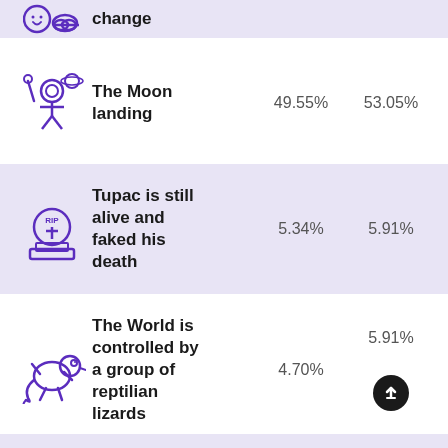change
The Moon landing
Tupac is still alive and faked his death
The World is controlled by a group of reptilian lizards